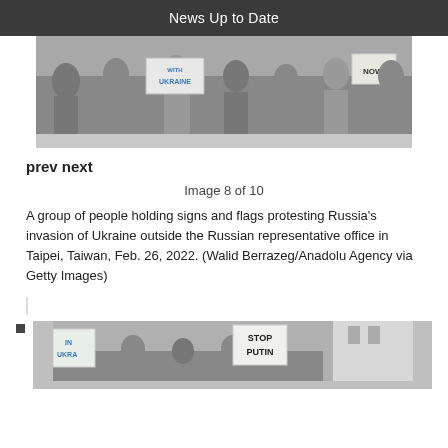News Up to Date
[Figure (photo): Group of people holding signs and flags protesting Russia's invasion of Ukraine outside the Russian representative office in Taipei, Taiwan. Signs visible include 'WITH UKRAINE' and 'NOW'.]
prev next
Image 8 of 10
A group of people holding signs and flags protesting Russia's invasion of Ukraine outside the Russian representative office in Taipei, Taiwan, Feb. 26, 2022. (Walid Berrazeg/Anadolu Agency via Getty Images)
[Figure (photo): Protest photo showing signs including 'STOP PUTIN' and partial text 'IN UKRAINE'.]